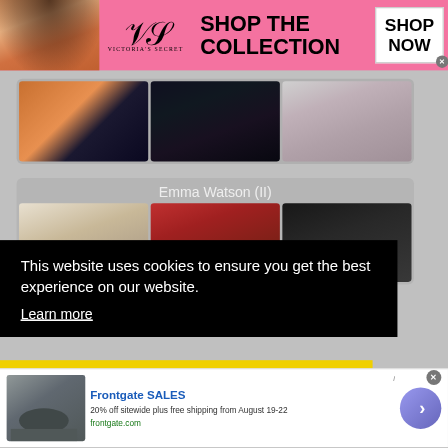[Figure (screenshot): Victoria's Secret advertisement banner with model photo, VS logo, SHOP THE COLLECTION text, and SHOP NOW button]
[Figure (photo): Three celebrity photos in a rounded gray card row]
Emma Watson (II)
[Figure (photo): Three photos of Emma Watson in a rounded gray card row]
This website uses cookies to ensure you get the best experience on our website.
Learn more
[Figure (screenshot): Frontgate SALES advertisement: 20% off sitewide plus free shipping from August 19-22, frontgate.com, with patio furniture image and arrow button]